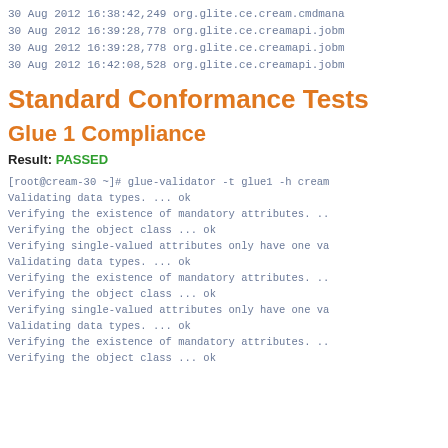30 Aug 2012 16:38:42,249 org.glite.ce.cream.cmdmana
30 Aug 2012 16:39:28,778 org.glite.ce.creamapi.jobm
30 Aug 2012 16:39:28,778 org.glite.ce.creamapi.jobm
30 Aug 2012 16:42:08,528 org.glite.ce.creamapi.jobm
Standard Conformance Tests
Glue 1 Compliance
Result: PASSED
[root@cream-30 ~]# glue-validator -t glue1 -h cream
Validating data types. ... ok
Verifying the existence of mandatory attributes. ..
Verifying the object class ... ok
Verifying single-valued attributes only have one va
Validating data types. ... ok
Verifying the existence of mandatory attributes. ..
Verifying the object class ... ok
Verifying single-valued attributes only have one va
Validating data types. ... ok
Verifying the existence of mandatory attributes. ..
Verifying the object class ... ok